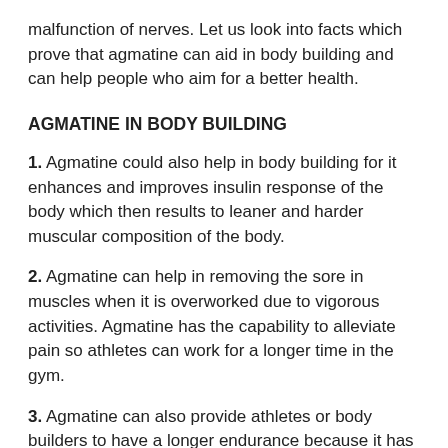malfunction of nerves. Let us look into facts which prove that agmatine can aid in body building and can help people who aim for a better health.
AGMATINE IN BODY BUILDING
1. Agmatine could also help in body building for it enhances and improves insulin response of the body which then results to leaner and harder muscular composition of the body.
2. Agmatine can help in removing the sore in muscles when it is overworked due to vigorous activities. Agmatine has the capability to alleviate pain so athletes can work for a longer time in the gym.
3. Agmatine can also provide athletes or body builders to have a longer endurance because it has analgesic qualities. Pain is a hindrance to a better performance, with agmatine in